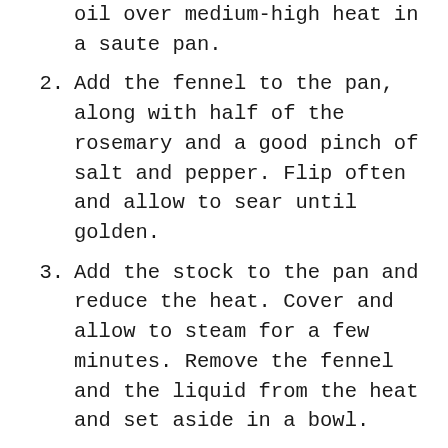(partial) oil over medium-high heat in a saute pan.
2. Add the fennel to the pan, along with half of the rosemary and a good pinch of salt and pepper. Flip often and allow to sear until golden.
3. Add the stock to the pan and reduce the heat. Cover and allow to steam for a few minutes. Remove the fennel and the liquid from the heat and set aside in a bowl.
4. Wipe the pan clean and add the remaining olive oil. Season the chicken breasts with salt, pepper, and the remaining rosemary. Increase the heat on the pan to medium-high, and add the pounded chicken breast.